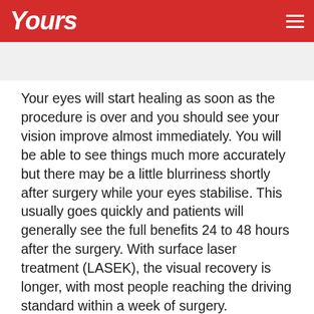Yours
Your eyes will start healing as soon as the procedure is over and you should see your vision improve almost immediately. You will be able to see things much more accurately but there may be a little blurriness shortly after surgery while your eyes stabilise. This usually goes quickly and patients will generally see the full benefits 24 to 48 hours after the surgery. With surface laser treatment (LASEK), the visual recovery is longer, with most people reaching the driving standard within a week of surgery.